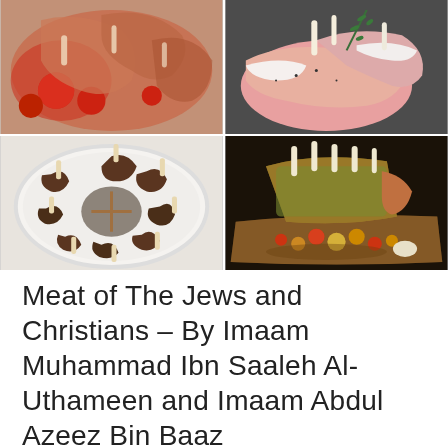[Figure (photo): Four food photos in a 2x2 grid: top-left shows raw lamb chops with tomatoes, top-right shows raw lamb chops with rosemary on dark surface, bottom-left shows grilled lamb chops arranged in a circle on a white plate, bottom-right shows roasted herb-crusted rack of lamb with small potatoes and cherry tomatoes on a wooden board]
Meat of The Jews and Christians – By Imaam Muhammad Ibn Saaleh Al-Uthameen and Imaam Abdul Azeez Bin Baaz